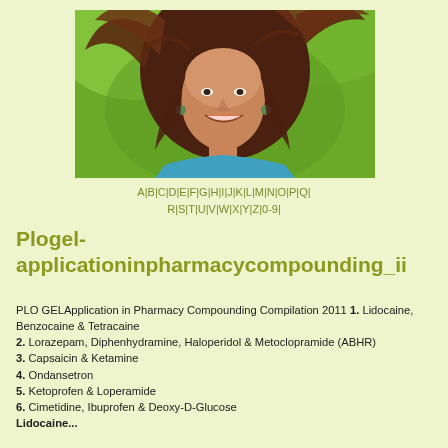[Figure (photo): A smiling young woman with long flowing reddish-brown hair in an outdoor green background, wearing a blue top]
A|B|C|D|E|F|G|H|I|J|K|L|M|N|O|P|Q|
R|S|T|U|V|W|X|Y|Z|0-9|
Plogel-applicationinpharmacycompounding_ii
PLO GELApplication in Pharmacy Compounding Compilation 2011 1. Lidocaine, Benzocaine & Tetracaine
2. Lorazepam, Diphenhydramine, Haloperidol & Metoclopramide (ABHR)
3. Capsaicin & Ketamine
4. Ondansetron
5. Ketoprofen & Loperamide
6. Cimetidine, Ibuprofen & Deoxy-D-Glucose
Lidocaine...